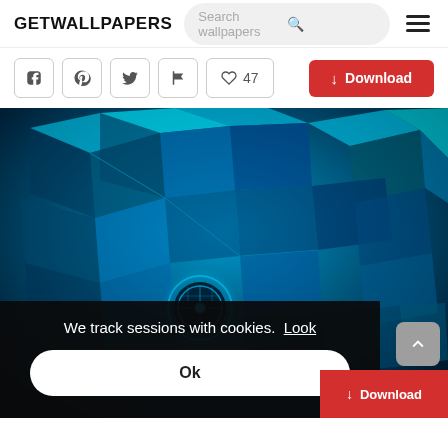GETWALLPAPERS
Search wallpapers
Social share buttons: Facebook, Pinterest, Twitter, Flag, ♡ 47
Download
[Figure (screenshot): 3D blue metallic cubes wallpaper with a glowing orb in the center, dark tunnel perspective]
We track sessions with cookies. Look
Ok
Download